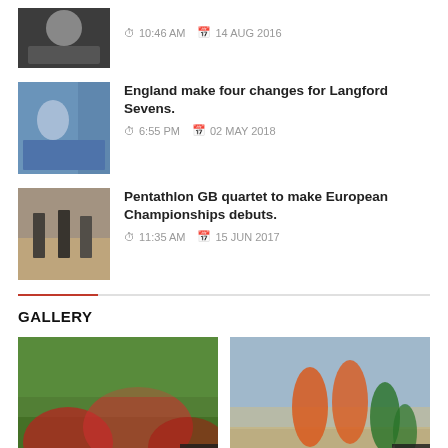10:46 AM  14 AUG 2016
England make four changes for Langford Sevens. 6:55 PM  02 MAY 2018
Pentathlon GB quartet to make European Championships debuts. 11:35 AM  15 JUN 2017
GALLERY
[Figure (photo): Group photo of women in red and white sports kits sitting and standing on grass]
[Figure (photo): Cricket match scene with players in orange and green kits celebrating near wickets]